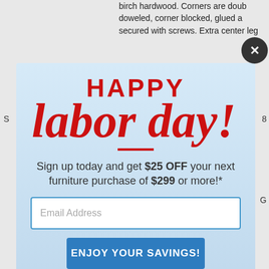birch hardwood. Corners are double-doweled, corner blocked, glued and secured with screws. Extra center leg
[Figure (screenshot): Happy Labor Day promotional popup modal over a furniture website. Modal contains 'HAPPY' in bold red uppercase, 'labor day!' in large red cursive/italic script, a red horizontal divider line, offer text 'Sign up today and get $25 OFF your next furniture purchase of $299 or more!*', an email address input field, a blue 'ENJOY YOUR SAVINGS!' button, and a 'NO THANKS' text link. Background shows a light blue city skyline. A close (X) button appears in the top-right corner.]